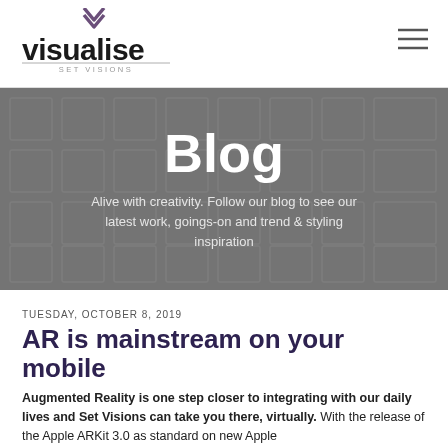[Figure (logo): Visualise logo with purple chevron mark above text 'visualise' in bold, underline, and tagline 'SET VISIONS']
[Figure (other): Hamburger menu icon (three horizontal lines) in top right corner]
[Figure (infographic): Dark grey hero banner with subtle square grid pattern overlay]
Blog
Alive with creativity. Follow our blog to see our latest work, goings-on and trend & styling inspiration
TUESDAY, OCTOBER 8, 2019
AR is mainstream on your mobile
Augmented Reality is one step closer to integrating with our daily lives and Set Visions can take you there, virtually. With the release of the Apple ARKit 3.0 as standard on new Apple